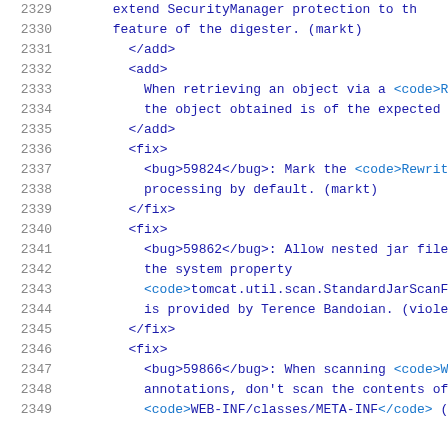2329  extend SecurityManager protection to th
2330  feature of the digester. (markt)
2331  </add>
2332  <add>
2333  When retrieving an object via a <code>R
2334  the object obtained is of the expected
2335  </add>
2336  <fix>
2337  <bug>59824</bug>: Mark the <code>Rewrit
2338  processing by default. (markt)
2339  </fix>
2340  <fix>
2341  <bug>59862</bug>: Allow nested jar file
2342  the system property
2343  <code>tomcat.util.scan.StandardJarScanF
2344  is provided by Terence Bandoian. (viole
2345  </fix>
2346  <fix>
2347  <bug>59866</bug>: When scanning <code>W
2348  annotations, don't scan the contents of
2349  <code>WEB-INF/classes/META-INF</code> (